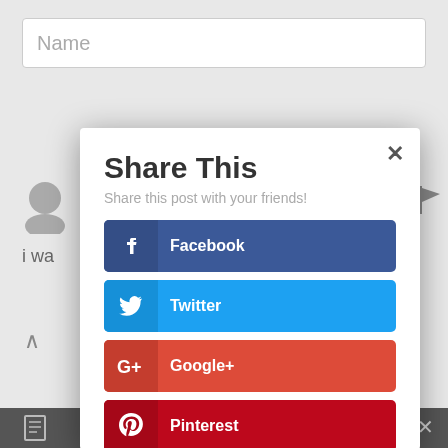[Figure (screenshot): Screenshot of a web page showing a 'Share This' social sharing modal dialog with buttons for Facebook, Twitter, Google+, Pinterest, reddit, and LinkedIn, overlaying a partially visible page with a Name input field at the top.]
Share This
Share this post with your friends!
Facebook
Twitter
Google+
Pinterest
reddit
LinkedIn